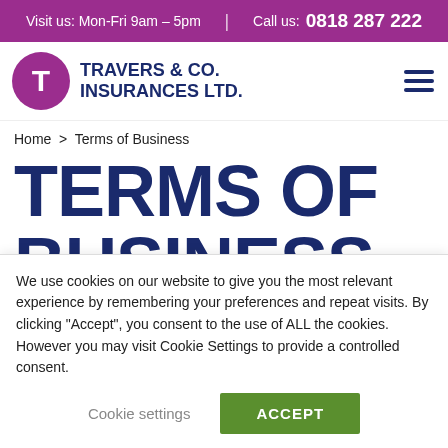Visit us: Mon-Fri 9am - 5pm | Call us: 0818 287 222
[Figure (logo): Travers & Co. Insurances Ltd. logo with purple circle containing T and company name in dark blue bold text]
Home > Terms of Business
TERMS OF BUSINESS
We use cookies on our website to give you the most relevant experience by remembering your preferences and repeat visits. By clicking "Accept", you consent to the use of ALL the cookies. However you may visit Cookie Settings to provide a controlled consent.
Cookie settings | ACCEPT